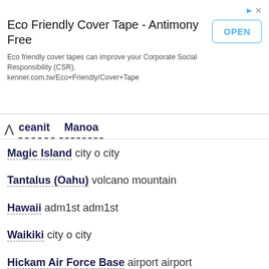[Figure (screenshot): Advertisement banner for Eco Friendly Cover Tape - Antimony Free by kenner.com.tw, with an OPEN button]
ceanit   Manoa
Magic Island city o city
Tantalus (Oahu) volcano mountain
Hawaii adm1st adm1st
Waikiki city o city
Hickam Air Force Base airport airport